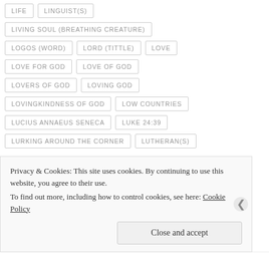LIFE
LINGUIST(S)
LIVING SOUL (BREATHING CREATURE)
LOGOS (WORD)
LORD (TITTLE)
LOVE
LOVE FOR GOD
LOVE OF GOD
LOVERS OF GOD
LOVING GOD
LOVINGKINDNESS OF GOD
LOW COUNTRIES
LUCIUS ANNAEUS SENECA
LUKE 24:39
LURKING AROUND THE CORNER
LUTHERAN(S)
Privacy & Cookies: This site uses cookies. By continuing to use this website, you agree to their use. To find out more, including how to control cookies, see here: Cookie Policy
Close and accept